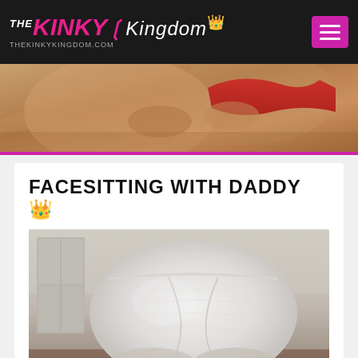THE KINKY Kingdom — THEKINKYKINGDOM.COM
[Figure (photo): Close-up photo with person wearing red lingerie, used as hero banner strip]
FACESITTING WITH DADDY 👑
[Figure (photo): Photo showing person in white clothing used as article thumbnail]